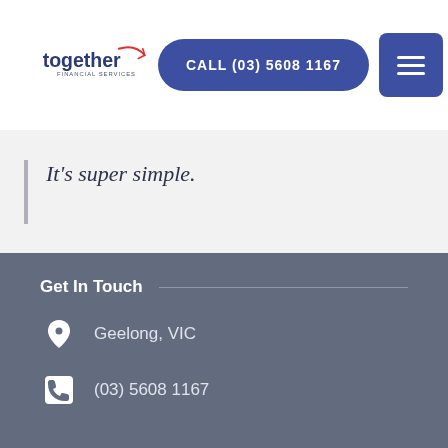[Figure (logo): Together Financial Services logo — dark blue text 'together' with a red checkmark swoosh, subtitle 'FINANCIAL SERVICES']
CALL (03) 5608 1167
It's super simple.
Mortgage Brokers Geelong
Get In Touch
Geelong, VIC
(03) 5608 1167